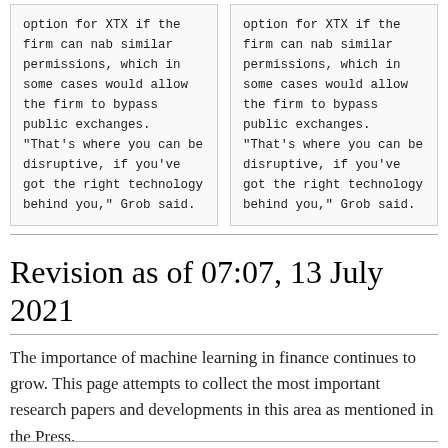option for XTX if the firm can nab similar permissions, which in some cases would allow the firm to bypass public exchanges. "That's where you can be disruptive, if you've got the right technology behind you," Grob said.
option for XTX if the firm can nab similar permissions, which in some cases would allow the firm to bypass public exchanges. "That's where you can be disruptive, if you've got the right technology behind you," Grob said.
Revision as of 07:07, 13 July 2021
The importance of machine learning in finance continues to grow. This page attempts to collect the most important research papers and developments in this area as mentioned in the Press.